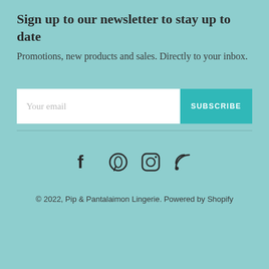Sign up to our newsletter to stay up to date
Promotions, new products and sales. Directly to your inbox.
[Figure (other): Email subscription form with input field labeled 'Your email' and a teal SUBSCRIBE button]
[Figure (other): Social media icons: Facebook, Pinterest, Instagram, RSS feed]
© 2022, Pip & Pantalaimon Lingerie. Powered by Shopify
[Figure (other): Payment method icons: Amazon, Amex, Apple Pay, Diners Club, Discover, Google Pay, Maestro, Mastercard, PayPal, Shop Pay, Visa]